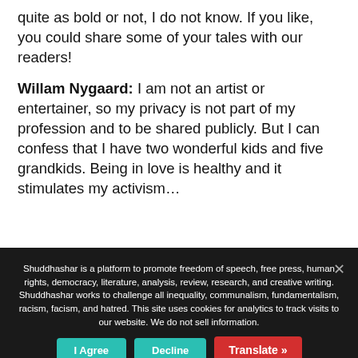quite as bold or not, I do not know. If you like, you could share some of your tales with our readers!
Willam Nygaard: I am not an artist or entertainer, so my privacy is not part of my profession and to be shared publicly. But I can confess that I have two wonderful kids and five grandkids. Being in love is healthy and it stimulates my activism…
Shuddhashar is a platform to promote freedom of speech, free press, human rights, democracy, literature, analysis, review, research, and creative writing. Shuddhashar works to challenge all inequality, communalism, fundamentalism, racism, facism, and hatred. This site uses cookies for analytics to track visits to our website. We do not sell information.